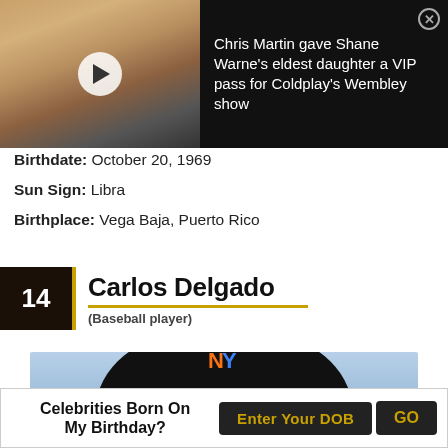[Figure (screenshot): Video thumbnail showing two smiling people with a play button overlay, dark background, ad for Chris Martin giving Shane Warne's eldest daughter a VIP pass for Coldplay's Wembley show]
Birthdate: October 20, 1969
Sun Sign: Libra
Birthplace: Vega Baja, Puerto Rico
14 Carlos Delgado (Baseball player)
[Figure (photo): Photo of a baseball player wearing a New York Mets cap, cropped showing just the cap and top of head against blue sky]
Celebrities Born On My Birthday? Enter Your DOB GO